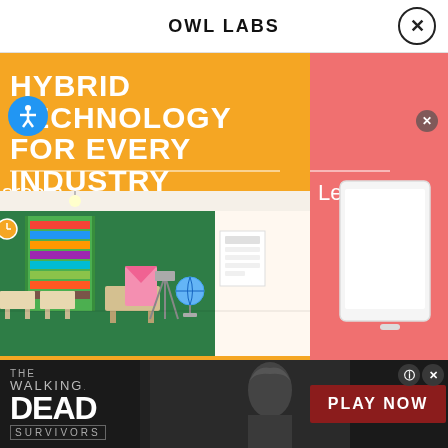OWL LABS
[Figure (illustration): Owl Labs advertisement showing 'Hybrid Technology For Every Industry' with a split orange and pink background. Left side shows a classroom scene with green walls, bookshelves, desks, and a globe. Right panel shows a pink background with partial text 'Le' visible. Bottom banner shows The Walking Dead Survivors game ad with 'PLAY NOW' button.]
HYBRID TECHNOLOGY FOR EVERY INDUSTRY
sroom
Le
THE WALKING DEAD SURVIVORS
PLAY NOW